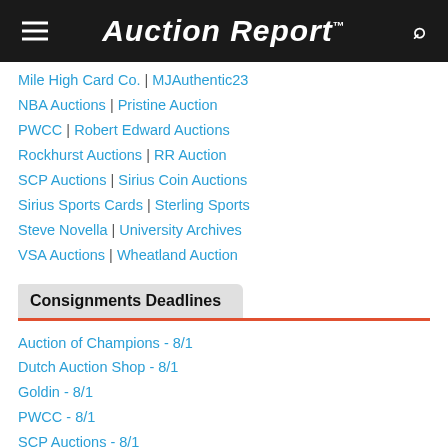Auction Report™
Mile High Card Co. | MJAuthentic23
NBA Auctions | Pristine Auction
PWCC | Robert Edward Auctions
Rockhurst Auctions | RR Auction
SCP Auctions | Sirius Coin Auctions
Sirius Sports Cards | Sterling Sports
Steve Novella | University Archives
VSA Auctions | Wheatland Auction
Consignments Deadlines
Auction of Champions - 8/1
Dutch Auction Shop - 8/1
Goldin - 8/1
PWCC - 8/1
SCP Auctions - 8/1
VSA Auctions - 8/1
RR Auction - 8/3
Iconic Auctions - 8/5
Heritage Auctions - 8/8
Collector Connection - 8/10
MEARS Auctions - 8/10